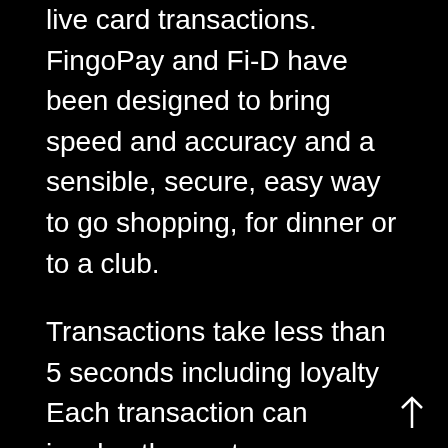live card transactions. FingoPay and Fi-D have been designed to bring speed and accuracy and a sensible, secure, easy way to go shopping, for dinner or to a club.
Transactions take less than 5 seconds including loyalty Each transaction can involve the customers mobile or wearable device for additional security. All transactions are digitally receipted to customers FingoPay account and email.
Whether a customer is at an event, on the high street, on the beach, by the pool, at the bar all they need to carry is their fingers and every transaction is secured by their unique